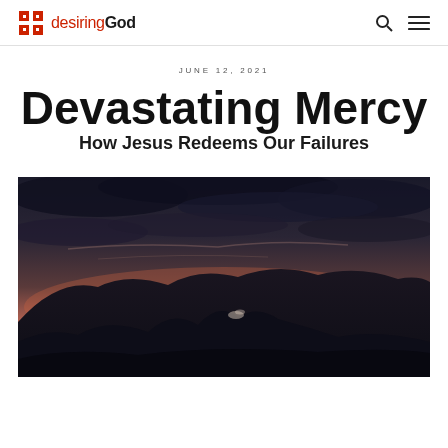desiringGod
JUNE 12, 2021
Devastating Mercy
How Jesus Redeems Our Failures
[Figure (photo): A dramatic landscape photo of mountain silhouettes against a warm sunset sky with dark clouds overhead, taken at dusk. The mountains are in deep shadow/silhouette and the sky features pink and orange hues near the horizon.]